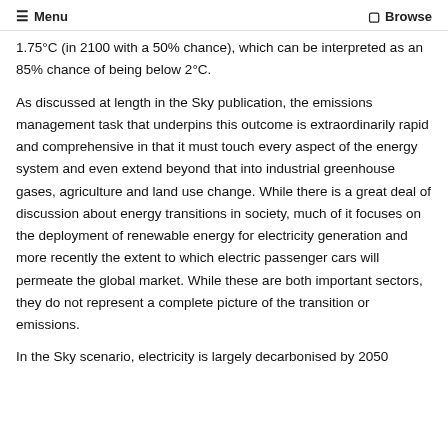≡ Menu   ⊡ Browse
1.75°C (in 2100 with a 50% chance), which can be interpreted as an 85% chance of being below 2°C.
As discussed at length in the Sky publication, the emissions management task that underpins this outcome is extraordinarily rapid and comprehensive in that it must touch every aspect of the energy system and even extend beyond that into industrial greenhouse gases, agriculture and land use change. While there is a great deal of discussion about energy transitions in society, much of it focuses on the deployment of renewable energy for electricity generation and more recently the extent to which electric passenger cars will permeate the global market. While these are both important sectors, they do not represent a complete picture of the transition or emissions.
In the Sky scenario, electricity is largely decarbonised by 2050